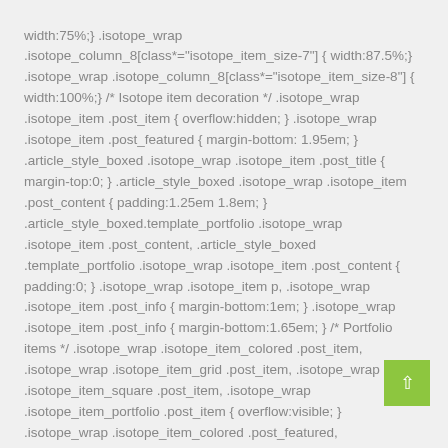width:75%;} .isotope_wrap .isotope_column_8[class*="isotope_item_size-7"] { width:87.5%;} .isotope_wrap .isotope_column_8[class*="isotope_item_size-8"] { width:100%;} /* Isotope item decoration */ .isotope_wrap .isotope_item .post_item { overflow:hidden; } .isotope_wrap .isotope_item .post_featured { margin-bottom: 1.95em; } .article_style_boxed .isotope_wrap .isotope_item .post_title { margin-top:0; } .article_style_boxed .isotope_wrap .isotope_item .post_content { padding:1.25em 1.8em; } .article_style_boxed.template_portfolio .isotope_wrap .isotope_item .post_content, .article_style_boxed .template_portfolio .isotope_wrap .isotope_item .post_content { padding:0; } .isotope_wrap .isotope_item p, .isotope_wrap .isotope_item .post_info { margin-bottom:1em; } .isotope_wrap .isotope_item .post_info { margin-bottom:1.65em; } /* Portfolio items */ .isotope_wrap .isotope_item_colored .post_item, .isotope_wrap .isotope_item_grid .post_item, .isotope_wrap .isotope_item_square .post_item, .isotope_wrap .isotope_item_portfolio .post_item { overflow:visible; } .isotope_wrap .isotope_item_colored .post_featured, .isotope_wrap .isotope_item_portfolio .post_featured, .isotope_wrap .isotope_item_square .post_featured, .isotope_wrap .isotope_item_grid .post_featured { border-bottom: none; } .isotope_wrap .isotope_item_colored